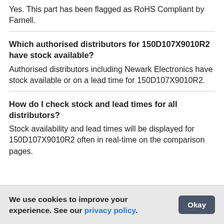Yes. This part has been flagged as RoHS Compliant by Farnell.
Which authorised distributors for 150D107X9010R2 have stock available?
Authorised distributors including Newark Electronics have stock available or on a lead time for 150D107X9010R2.
How do I check stock and lead times for all distributors?
Stock availability and lead times will be displayed for 150D107X9010R2 often in real-time on the comparison pages.
We use cookies to improve your experience. See our privacy policy.